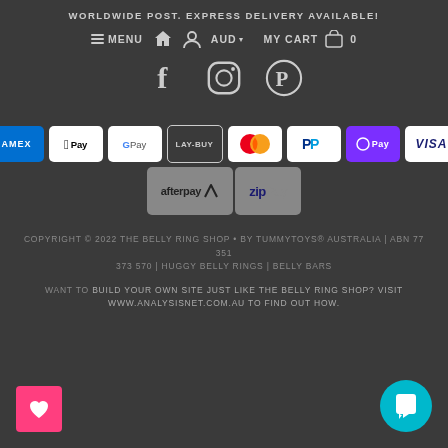WORLDWIDE POST. EXPRESS DELIVERY AVAILABLE!
[Figure (screenshot): Navigation bar with menu, home, account, AUD currency selector, and MY CART with bag icon and 0 items]
[Figure (infographic): Social media icons row: Facebook, Instagram, Pinterest]
[Figure (infographic): Payment method logos row 1: Amex, Apple Pay, Google Pay, Lay-Buy, Mastercard, PayPal, OPay, Visa]
[Figure (infographic): Payment method logos row 2: Afterpay, ZipPay]
COPYRIGHT © 2022 THE BELLY RING SHOP • BY TUMMYTOYS® AUSTRALIA | ABN 77 351 373 570 | HUGGY BELLY RINGS | BELLY BARS
WANT TO BUILD YOUR OWN SITE JUST LIKE THE BELLY RING SHOP? VISIT WWW.ANALYSISNET.COM.AU TO FIND OUT HOW.
[Figure (other): Pink square wishlist heart button at bottom left]
[Figure (other): Teal circular chat button at bottom right]